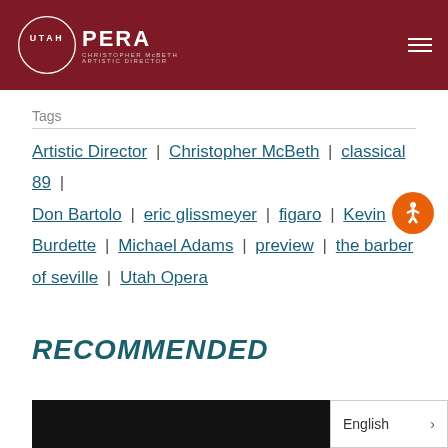Utah Opera – Christopher McBeth, Artistic Director
Tags
Artistic Director | Christopher McBeth | classical 89 | Don Bartolo | eric glissmeyer | figaro | Kevin Burdette | Michael Adams | preview | the barber of seville | Utah Opera
RECOMMENDED